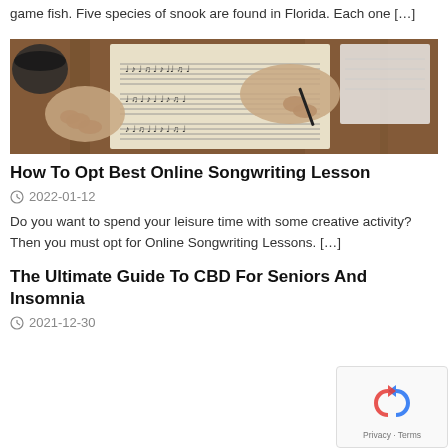game fish. Five species of snook are found in Florida. Each one […]
[Figure (photo): Hands writing sheet music with a pen on a wooden table]
How To Opt Best Online Songwriting Lesson
2022-01-12
Do you want to spend your leisure time with some creative activity? Then you must opt for Online Songwriting Lessons. […]
The Ultimate Guide To CBD For Seniors And Insomnia
2021-12-30